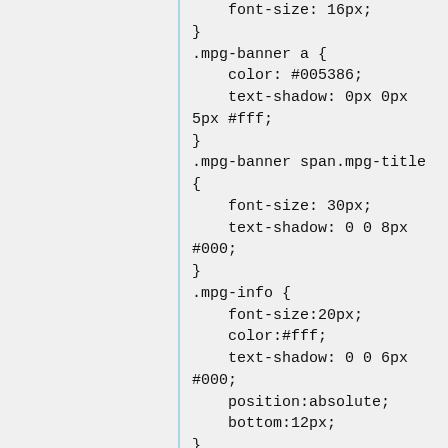font-size: 16px;
}
.mpg-banner a {
    color: #005386;
    text-shadow: 0px 0px 5px #fff;
}
.mpg-banner span.mpg-title {
    font-size: 30px;
    text-shadow: 0 0 8px #000;
}
.mpg-info {
    font-size:20px;
    color:#fff;
    text-shadow: 0 0 6px #000;
    position:absolute;
    bottom:12px;
}
.mpg-credit {
    position: absolute;
    bottom: 8px;
    right: 14px;